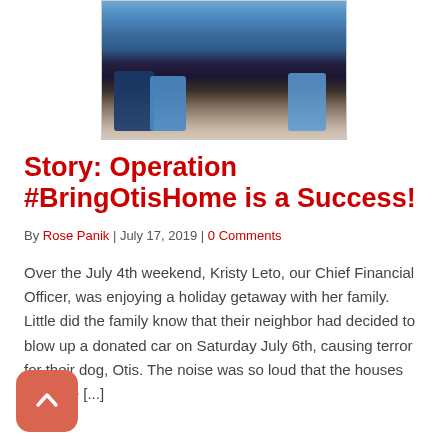[Figure (photo): Photo showing lower bodies/legs and feet of people standing, cropped — only legs and shoes visible against a stone/pavement background.]
Story: Operation #BringOtisHome is a Success!
By Rose Panik  |  July 17, 2019  |  0 Comments
Over the July 4th weekend, Kristy Leto, our Chief Financial Officer, was enjoying a holiday getaway with her family. Little did the family know that their neighbor had decided to blow up a donated car on Saturday July 6th, causing terror for their dog, Otis. The noise was so loud that the houses near the [...]